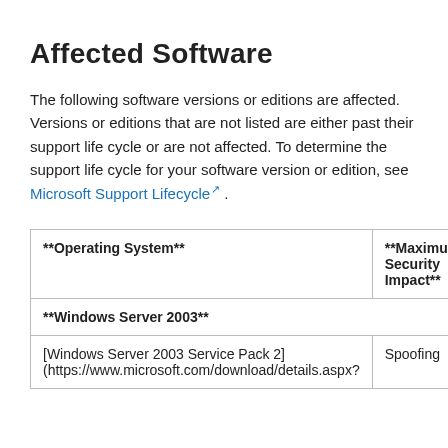Affected Software
The following software versions or editions are affected. Versions or editions that are not listed are either past their support life cycle or are not affected. To determine the support life cycle for your software version or edition, see Microsoft Support Lifecycle ↗ .
| **Operating System** | **Maximum Security Impact** |
| --- | --- |
| **Windows Server 2003** |  |
| [Windows Server 2003 Service Pack 2] (https://www.microsoft.com/download/details.aspx? | Spoofing |